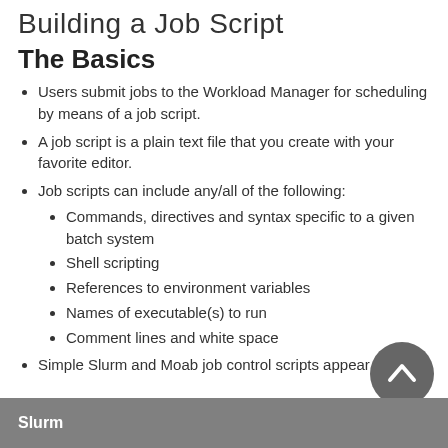Building a Job Script
The Basics
Users submit jobs to the Workload Manager for scheduling by means of a job script.
A job script is a plain text file that you create with your favorite editor.
Job scripts can include any/all of the following:
Commands, directives and syntax specific to a given batch system
Shell scripting
References to environment variables
Names of executable(s) to run
Comment lines and white space
Simple Slurm and Moab job control scripts appear below:
Slurm